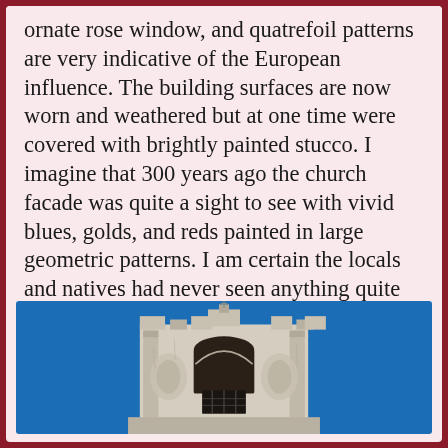ornate rose window, and quatrefoil patterns are very indicative of the European influence. The building surfaces are now worn and weathered but at one time were covered with brightly painted stucco. I imagine that 300 years ago the church facade was quite a sight to see with vivid blues, golds, and reds painted in large geometric patterns. I am certain the locals and natives had never seen anything quite like it!
[Figure (photo): Photograph of a weathered stone church facade bell tower against a bright blue sky. The structure shows colonial Spanish architecture with an arched window opening, ornamental stonework, and visible wear. The tower appears partially ruined with rough stone surfaces.]